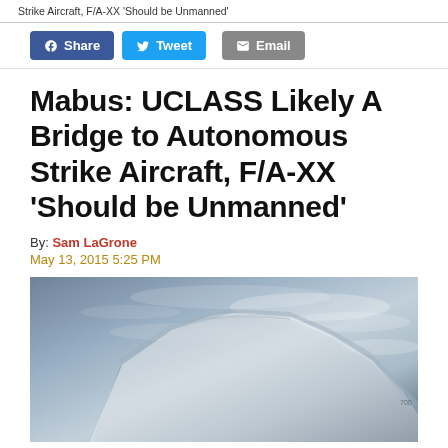Strike Aircraft, F/A-XX 'Should be Unmanned'
Mabus: UCLASS Likely A Bridge to Autonomous Strike Aircraft, F/A-XX ‘Should be Unmanned’
By: Sam LaGrone
May 13, 2015 5:25 PM
[Figure (photo): Image of a stealth aircraft (likely a concept or model of the UCLASS or F/A-XX unmanned aircraft) against a cloudy sky background, showing the leading edge and angular fuselage of a flying wing design.]